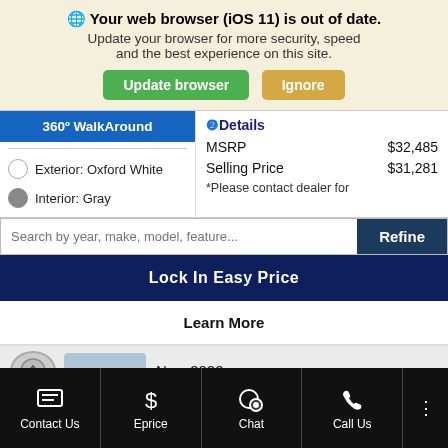Your web browser (iOS 11) is out of date. Update your browser for more security, speed and the best experience on this site.
[Figure (screenshot): Two buttons: green 'Update browser' and tan 'Ignore']
[Figure (screenshot): 360 WalkAround blue button, Exterior: Oxford White, Interior: Gray color options on left panel]
Details
MSRP $32,485
Selling Price $31,281
*Please contact dealer for
[Figure (screenshot): Search bar with placeholder 'Search by year, make, model, feature...' and dark blue 'Refine' button]
Lock In Easy Price
Learn More
New 2022
[Figure (screenshot): Bottom navigation bar with Contact Us, Eprice, Chat, Call Us, and more options icons]
Contact Us | Eprice | Chat | Call Us